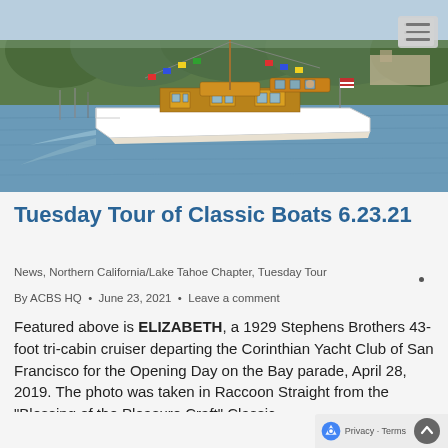[Figure (photo): Classic white wooden motor cruiser boat on blue bay water with marina and tree-covered hills in background, decorated with signal flags]
Tuesday Tour of Classic Boats 6.23.21
News, Northern California/Lake Tahoe Chapter, Tuesday Tour
By ACBS HQ  •  June 23, 2021  •  Leave a comment
Featured above is ELIZABETH, a 1929 Stephens Brothers 43-foot tri-cabin cruiser departing the Corinthian Yacht Club of San Francisco for the Opening Day on the Bay parade, April 28, 2019. The photo was taken in Raccoon Straight from the "Blessing of the Pleasure Craft" Classic